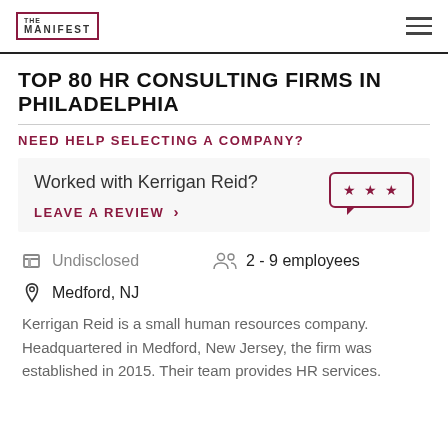THE MANIFEST
TOP 80 HR CONSULTING FIRMS IN PHILADELPHIA
NEED HELP SELECTING A COMPANY?
Worked with Kerrigan Reid?
LEAVE A REVIEW >
Undisclosed
2 - 9 employees
Medford, NJ
Kerrigan Reid is a small human resources company. Headquartered in Medford, New Jersey, the firm was established in 2015. Their team provides HR services.